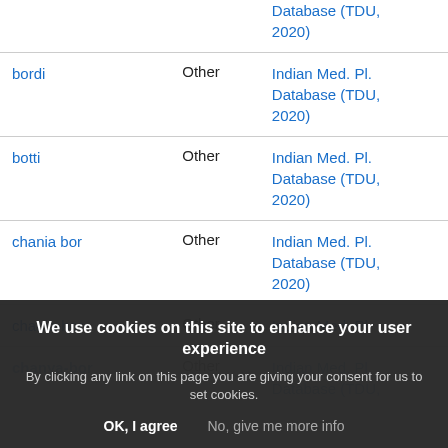| Name | Type | Source |
| --- | --- | --- |
| (Database (TDU, 2020)) |  |  |
| bordi | Other | Indian Med. Pl. Database (TDU, 2020) |
| botti | Other | Indian Med. Pl. Database (TDU, 2020) |
| chania bor | Other | Indian Med. Pl. Database (TDU, 2020) |
| chania-bor | Other | Indian Med. Pl. Database (TDU, 2020) |
| chanya-bor | Other | Indian Med. Pl. Database (TDU, 2020) |
We use cookies on this site to enhance your user experience. By clicking any link on this page you are giving your consent for us to set cookies. OK, I agree | No, give me more info